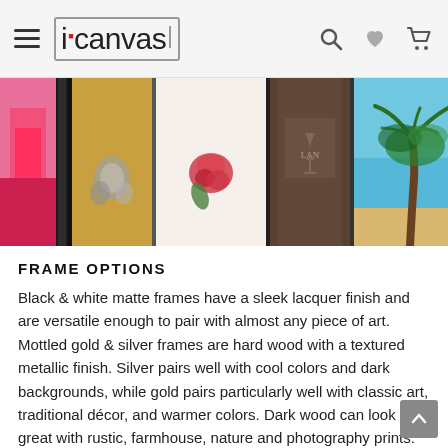iCanvas navigation header with hamburger menu, logo, search, wishlist, and cart icons
[Figure (photo): Close-up photo of multiple canvas frame edges side by side: black matte frame with pink/red artwork, gold mottled frame with silver decorative elements, white canvas with red rose print, dark wood frame with wine/bar art, and a frame showing a palm tree scene against blue sky.]
FRAME OPTIONS
Black & white matte frames have a sleek lacquer finish and are versatile enough to pair with almost any piece of art. Mottled gold & silver frames are hard wood with a textured metallic finish. Silver pairs well with cool colors and dark backgrounds, while gold pairs particularly well with classic art, traditional décor, and warmer colors. Dark wood can look great with rustic, farmhouse, nature and photography prints.